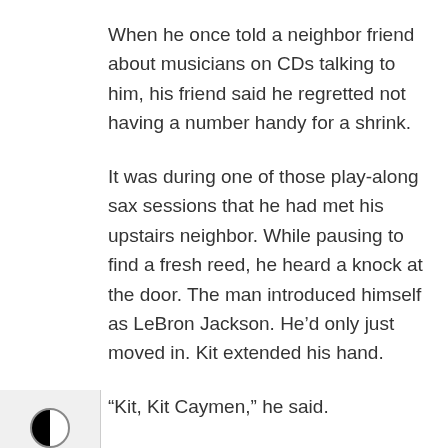When he once told a neighbor friend about musicians on CDs talking to him, his friend said he regretted not having a number handy for a shrink.
It was during one of those play-along sax sessions that he had met his upstairs neighbor. While pausing to find a fresh reed, he heard a knock at the door. The man introduced himself as LeBron Jackson. He'd only just moved in. Kit extended his hand.
“Kit, Kit Caymen,” he said.
“I play bass,” LeBron said. “Didn’t know you played, too, K-Man.”